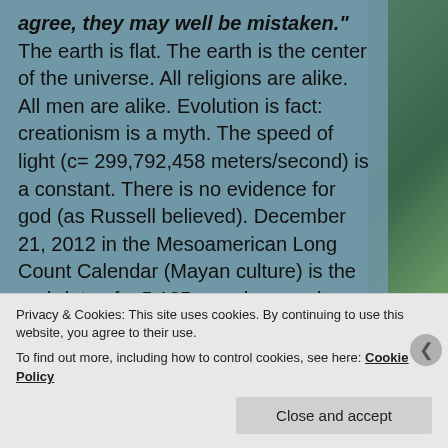agree, they may well be mistaken." The earth is flat. The earth is the center of the universe. All religions are alike. All men are alike. Evolution is fact: creationism is a myth. The speed of light (c= 299,792,458 meters/second) is a constant. There is no evidence for god (as Russell believed). December 21, 2012 in the Mesoamerican Long Count Calendar (Mayan culture) is the end-date of a 5,125-year-long cycle which will see the end of the world.
We've become a people who accept what we are told. To question is to go against the flow of public opinion and risk being labeled different, rebellious, not a
Privacy & Cookies: This site uses cookies. By continuing to use this website, you agree to their use.
To find out more, including how to control cookies, see here: Cookie Policy
Close and accept